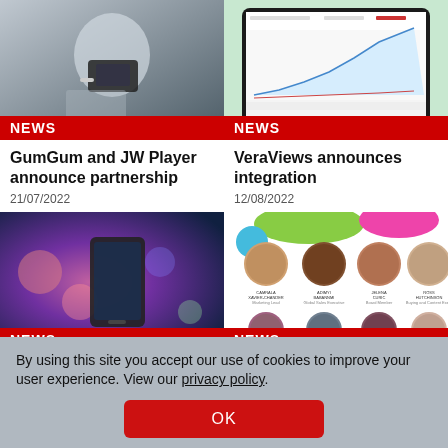[Figure (photo): Person holding a smartphone with earphones]
NEWS
GumGum and JW Player announce partnership
21/07/2022
[Figure (screenshot): Dashboard analytics screenshot on a tablet with line chart]
NEWS
VeraViews announces integration
12/08/2022
[Figure (photo): Hand holding a smartphone with bokeh lights]
NEWS
[Figure (photo): Speaker profile photos grid with names and titles]
NEWS
By using this site you accept our use of cookies to improve your user experience. View our privacy policy.
OK